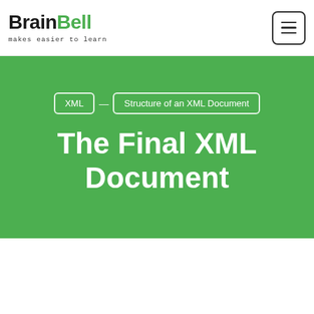BrainBell — makes easier to learn
XML — Structure of an XML Document
The Final XML Document